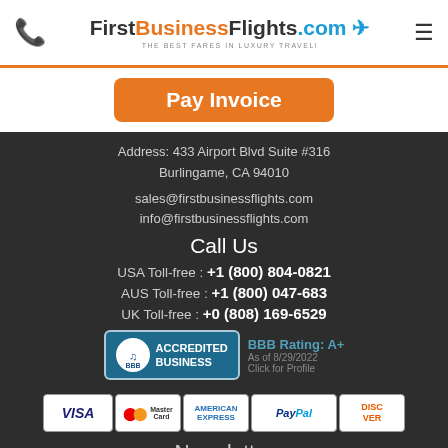[Figure (logo): FirstBusinessFlights.com logo with plane icon and tagline 'THE BEST FARES IN LUXURY TRAVEL!']
Pay Invoice
Address: 433 Airport Blvd Suite #316
Burlingame, CA 94010
sales@firstbusinessflights.com
info@firstbusinessflights.com
Call Us
USA Toll-free : +1 (800) 804-0821
AUS Toll-free : +1 (800) 047-683
UK Toll-free : +0 (808) 169-6529
[Figure (logo): BBB Accredited Business badge with BBB Rating A+ as of 8/29/2022]
[Figure (logo): Payment method icons: Visa, MasterCard, American Express, PayPal, Discover]
Newsletter